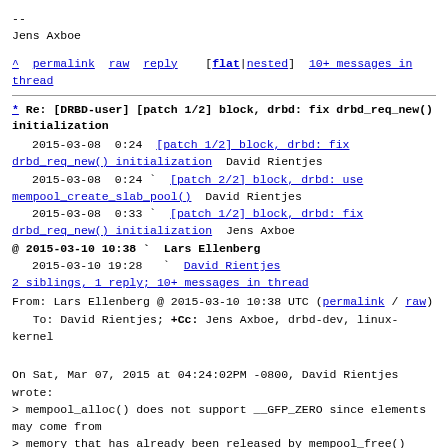--
Jens Axboe
^ permalink  raw  reply    [flat|nested]  10+ messages in thread
* Re: [DRBD-user] [patch 1/2] block, drbd: fix drbd_req_new() initialization
2015-03-08  0:24  [patch 1/2] block, drbd: fix drbd_req_new() initialization  David Rientjes
   2015-03-08  0:24 ` [patch 2/2] block, drbd: use mempool_create_slab_pool()  David Rientjes
   2015-03-08  0:33 ` [patch 1/2] block, drbd: fix drbd_req_new() initialization  Jens Axboe
@ 2015-03-10 10:38 `  Lars Ellenberg
   2015-03-10 19:28    ` David Rientjes
   2 siblings, 1 reply; 10+ messages in thread
From: Lars Ellenberg @ 2015-03-10 10:38 UTC (permalink / raw)
   To: David Rientjes; +Cc: Jens Axboe, drbd-dev, linux-kernel
On Sat, Mar 07, 2015 at 04:24:02PM -0800, David Rientjes wrote:
> mempool_alloc() does not support __GFP_ZERO since elements may come from
> memory that has already been released by mempool_free()